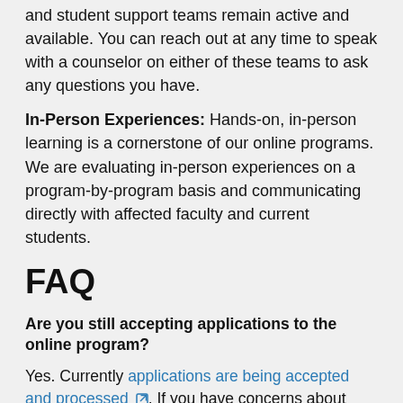and student support teams remain active and available. You can reach out at any time to speak with a counselor on either of these teams to ask any questions you have.
In-Person Experiences: Hands-on, in-person learning is a cornerstone of our online programs. We are evaluating in-person experiences on a program-by-program basis and communicating directly with affected faculty and current students.
FAQ
Are you still accepting applications to the online program?
Yes. Currently applications are being accepted and processed. If you have concerns about completing application requirements at this time, reach out to an Admissions Counselor.